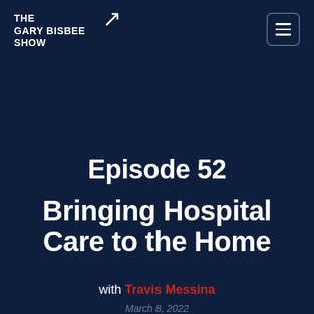THE GARY BISBEE SHOW
Episode 52
Bringing Hospital Care to the Home
with Travis Messina
March 8, 2022